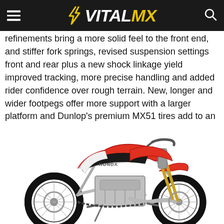VITALMX
refinements bring a more solid feel to the front end, and stiffer fork springs, revised suspension settings front and rear plus a new shock linkage yield improved tracking, more precise handling and added rider confidence over rough terrain. New, longer and wider footpegs offer more support with a larger platform and Dunlop's premium MX51 tires add to an overall package that makes the CRF450R the bike of choice in the open-class for 2012.
[Figure (photo): Honda CRF450R red and white motocross motorcycle on white background, side profile view]